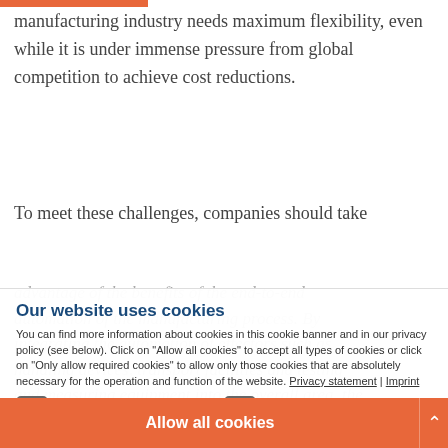manufacturing industry needs maximum flexibility, even while it is under immense pressure from global competition to achieve cost reductions.
To meet these challenges, companies should take advantage of the benefits of the end-to-end automation of the manufacturing process. By integrating the automation of effectors such as handling devices, transport facilities and testing and measuring equipment into the overall area, the aim is to centrally control and monitor all activities.
Highly integrated production facilities with unified concepts come with terms of efficiency, process stability, reporting and traceability. By including building technology and energy supply in the management and control activities, manufacturers can further enhance the
Our website uses cookies
You can find more information about cookies in this cookie banner and in our privacy policy (see below). Click on "Allow all cookies" to accept all types of cookies or click on "Only allow required cookies" to allow only those cookies that are absolutely necessary for the operation and function of the website. Privacy statement | Imprint
Required
Statistics
Marketing
> Show details
Apply settings
Allow all cookies